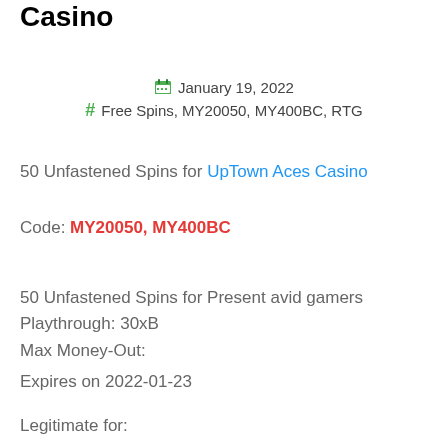Casino
January 19, 2022
# Free Spins, MY20050, MY400BC, RTG
50 Unfastened Spins for UpTown Aces Casino
Code: MY20050, MY400BC
50 Unfastened Spins for Present avid gamers
Playthrough: 30xB
Max Money-Out:
Expires on 2022-01-23
Legitimate for: